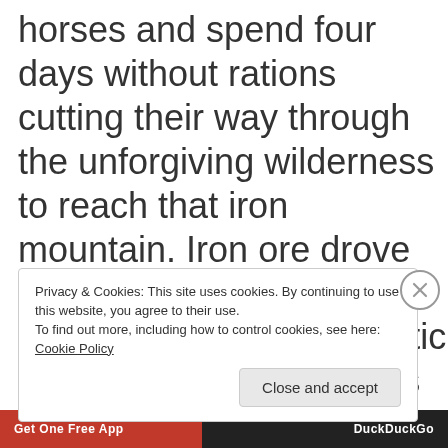horses and spend four days without rations cutting their way through the unforgiving wilderness to reach that iron mountain. Iron ore drove his invention of the solar compass as their magnetic compasses were useless once they found the iron ore.
Privacy & Cookies: This site uses cookies. By continuing to use this website, you agree to their use.
To find out more, including how to control cookies, see here: Cookie Policy
Close and accept
[Figure (screenshot): Advertisement bar at the bottom with orange/red and dark sections showing app and DuckDuckGo branding]